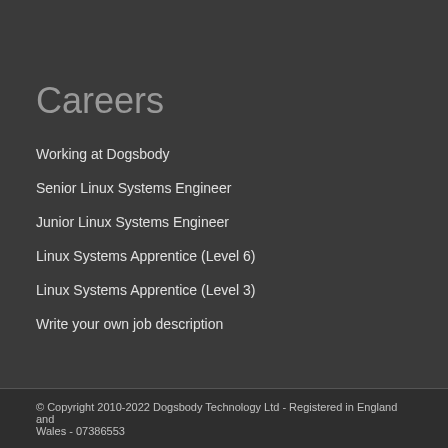Careers
Working at Dogsbody
Senior Linux Systems Engineer
Junior Linux Systems Engineer
Linux Systems Apprentice (Level 6)
Linux Systems Apprentice (Level 3)
Write your own job description
© Copyright 2010-2022 Dogsbody Technology Ltd - Registered in England and Wales - 07386553